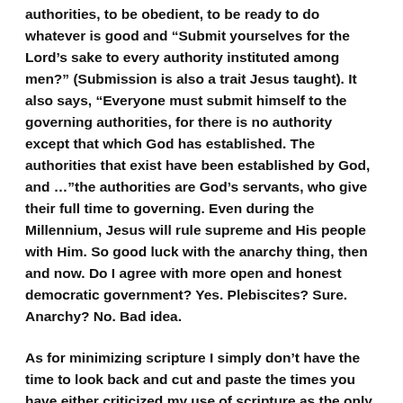authorities, to be obedient, to be ready to do whatever is good and “Submit yourselves for the Lord’s sake to every authority instituted among men?” (Submission is also a trait Jesus taught). It also says, “Everyone must submit himself to the governing authorities, for there is no authority except that which God has established. The authorities that exist have been established by God, and …”the authorities are God’s servants, who give their full time to governing. Even during the Millennium, Jesus will rule supreme and His people with Him. So good luck with the anarchy thing, then and now. Do I agree with more open and honest democratic government? Yes. Plebiscites? Sure. Anarchy? No. Bad idea.
As for minimizing scripture I simply don’t have the time to look back and cut and paste the times you have either criticized my use of scripture as the only basis for my argument or simply said